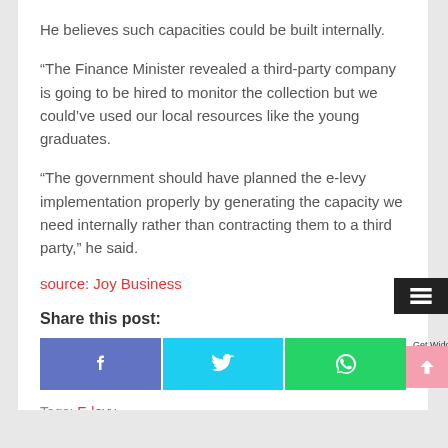He believes such capacities could be built internally.
“The Finance Minister revealed a third-party company is going to be hired to monitor the collection but we could’ve used our local resources like the young graduates.
“The government should have planned the e-levy implementation properly by generating the capacity we need internally rather than contracting them to a third party,” he said.
source: Joy Business
Share this post:
[Figure (other): Social media share buttons: Facebook, Twitter, WhatsApp]
Tags: E-levy